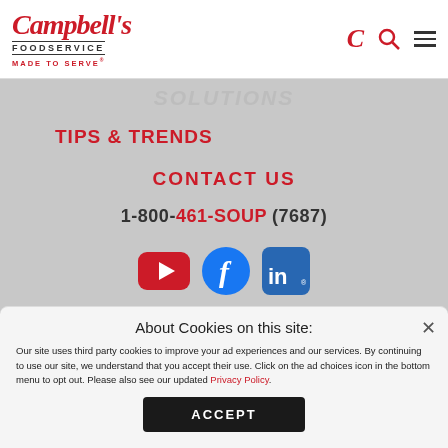[Figure (logo): Campbell's Foodservice MADE TO SERVE logo in red italic script with navigation icons]
SOLUTIONS
TIPS & TRENDS
CONTACT US
1-800-461-SOUP (7687)
[Figure (infographic): Social media icons: YouTube, Facebook, LinkedIn]
About Cookies on this site:
Our site uses third party cookies to improve your ad experiences and our services. By continuing to use our site, we understand that you accept their use. Click on the ad choices icon in the bottom menu to opt out. Please also see our updated Privacy Policy.
ACCEPT